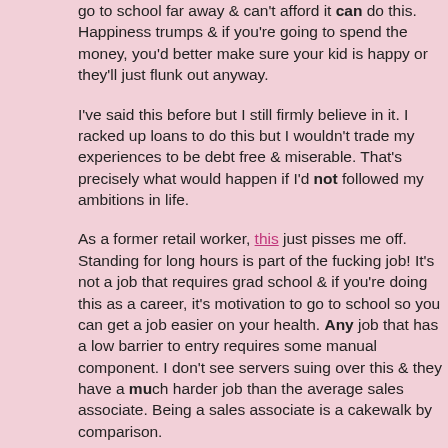go to school far away & can't afford it can do this. Happiness trumps & if you're going to spend the money, you'd better make sure your kid is happy or they'll just flunk out anyway.
I've said this before but I still firmly believe in it. I racked up loans to do this but I wouldn't trade my experiences to be debt free & miserable. That's precisely what would happen if I'd not followed my ambitions in life.
As a former retail worker, this just pisses me off. Standing for long hours is part of the fucking job! It's not a job that requires grad school & if you're doing this as a career, it's motivation to go to school so you can get a job easier on your health. Any job that has a low barrier to entry requires some manual component. I don't see servers suing over this & they have a much harder job than the average sales associate. Being a sales associate is a cakewalk by comparison.
This fact is one reason I would not go back to retail. Some jobs are for younger people. If you are not up to the inherent demands of the job, stop whining and filing lawsuits! Use that money to go get an education or to fund lobbying efforts/protests to government officials so better paying jobs are out there. Don't take it out on store owners.
Second, if you leave seats out on the sales floor customers will inevitably sit in them no matter what you do. When I worked in retail, we had chairs & customers sat in them. Are you going to walk up to customers & make them move so you can sit? That will leave a very good impression on customers. How would you feel about seeing your sales associate kicking back in a chair during working hours? Especially if the worker kicked a customer out of it? That could get really ugly in a lingerie section if it's a man who's stuck there because his wife/girlfriend forced him to go bra shopping with her. Not to mention making kids move! Those people would sit in our chairs...